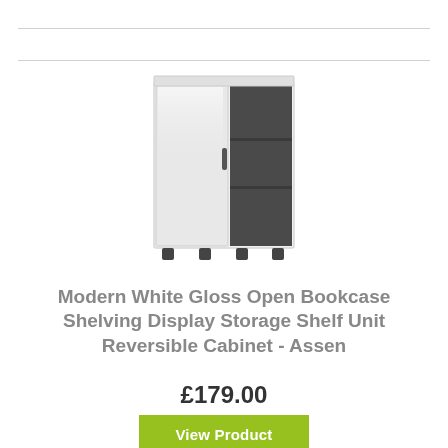[Figure (photo): White gloss open bookcase with one door on the left side and three open shelves on the right side, with small black feet at the bottom]
Modern White Gloss Open Bookcase Shelving Display Storage Shelf Unit Reversible Cabinet - Assen
£179.00
View Product